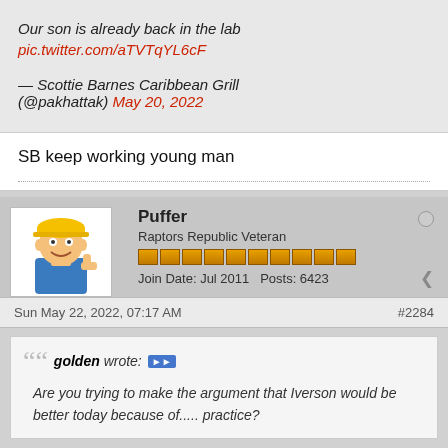Our son is already back in the lab pic.twitter.com/aTVTqYL6cF — Scottie Barnes Caribbean Grill (@pakhattak) May 20, 2022
SB keep working young man
Puffer
Raptors Republic Veteran
Join Date: Jul 2011  Posts: 6423
Sun May 22, 2022, 07:17 AM   #2284
golden wrote: Are you trying to make the argument that Iverson would be better today because of..... practice?